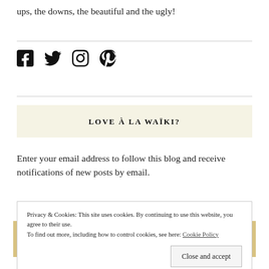ups, the downs, the beautiful and the ugly!
[Figure (other): Social media icons: Facebook, Twitter, Instagram, Pinterest]
LOVE À LA WAÏKI?
Enter your email address to follow this blog and receive notifications of new posts by email.
Privacy & Cookies: This site uses cookies. By continuing to use this website, you agree to their use. To find out more, including how to control cookies, see here: Cookie Policy
Close and accept